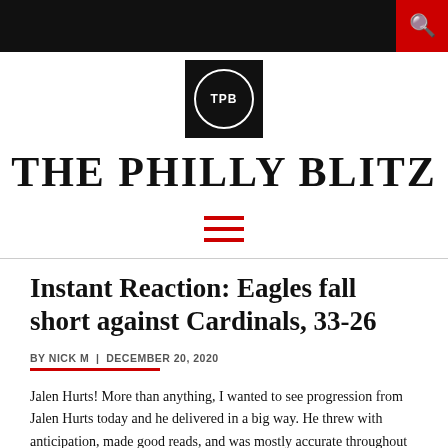THE PHILLY BLITZ
THE PHILLY BLITZ
Instant Reaction: Eagles fall short against Cardinals, 33-26
BY NICK M  |  DECEMBER 20, 2020
Jalen Hurts! More than anything, I wanted to see progression from Jalen Hurts today and he delivered in a big way. He threw with anticipation, made good reads, and was mostly accurate throughout the night. His aggressiveness downfield really opened